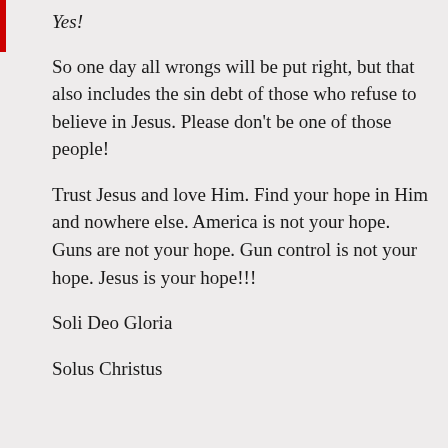Yes!
So one day all wrongs will be put right, but that also includes the sin debt of those who refuse to believe in Jesus. Please don't be one of those people!
Trust Jesus and love Him. Find your hope in Him and nowhere else. America is not your hope. Guns are not your hope. Gun control is not your hope. Jesus is your hope!!!
Soli Deo Gloria
Solus Christus